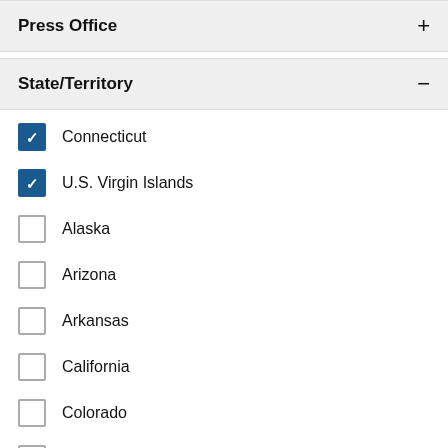Press Office +
State/Territory −
Connecticut (checked)
U.S. Virgin Islands (checked)
Alaska
Arizona
Arkansas
California
Colorado
Delaware
District of Columbia
Great Plains